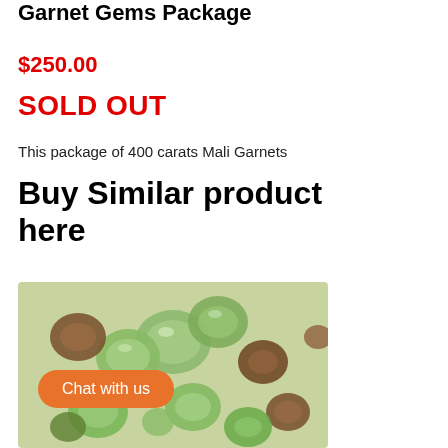Garnet Gems Package
$250.00
SOLD OUT
This package of 400 carats Mali Garnets
Buy Similar product here
[Figure (photo): Close-up photo of green and brown Mali garnet gemstones]
Chat with us